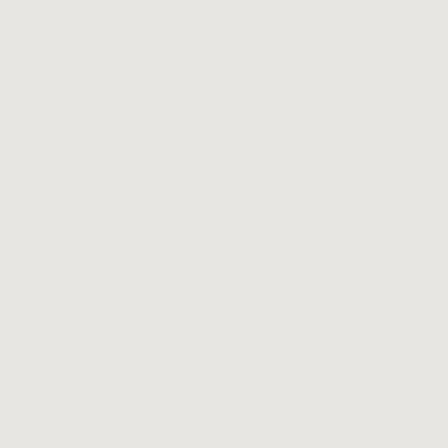like the OCR numerals "6", "9"...
in graphemes for the phonem... The second spot for the loca... of the basic shape and the op... /p/ and /l/ (group 3) are draw... the opposite direction elonga... /w/, /y/ and /z/.
Table 3: Families and ...
|  |  | Family 1 |
| --- | --- | --- |
| group 1 | v | [shape] |
| group 2 | d | [shape] |
| group 3 | m | [shape] |
| group 4 | r | [shape] |
[Figure (illustration): Grapheme shape illustrations for groups 1-4 in Family 1 column of Table 3]